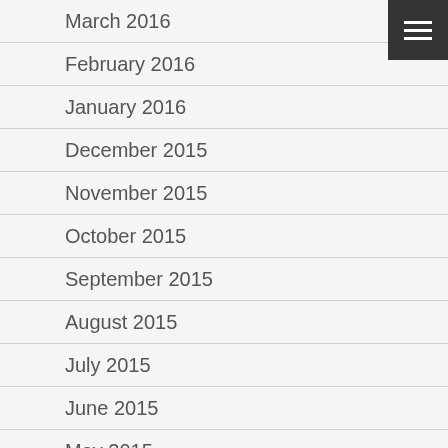March 2016
February 2016
January 2016
December 2015
November 2015
October 2015
September 2015
August 2015
July 2015
June 2015
May 2015
April 2015
March 2015
February 2015
January 2015
December 2014
November 2014